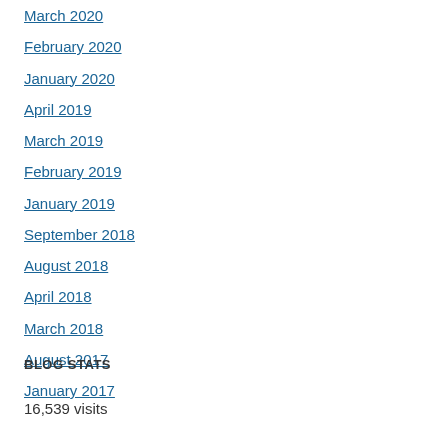March 2020
February 2020
January 2020
April 2019
March 2019
February 2019
January 2019
September 2018
August 2018
April 2018
March 2018
August 2017
January 2017
BLOG STATS
16,539 visits